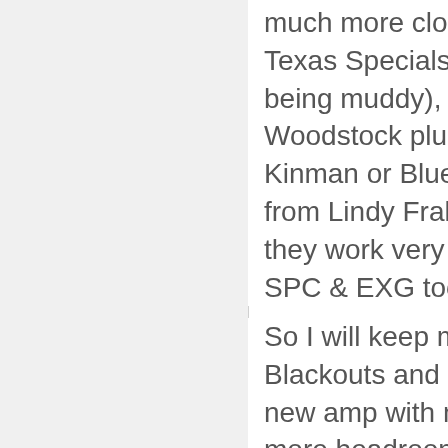much more closer to Texas Specials (without being muddy), or to the Woodstock plus set from Kinman or Blues Special from Lindy Fralin. (and they work very well with SPC & EXG too)
So I will keep my Blackouts and look for a new amp with much more headroom. :-) (I will go further with some interesting settings for a new